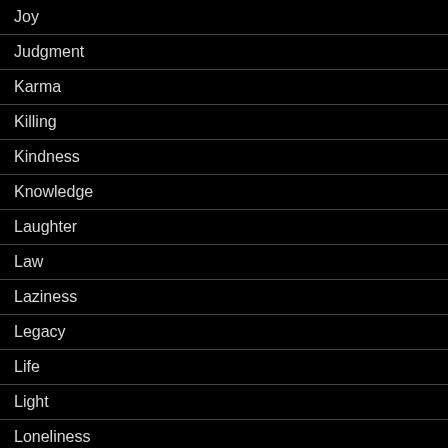Joy
Judgment
Karma
Killing
Kindness
Knowledge
Laughter
Law
Laziness
Legacy
Life
Light
Loneliness